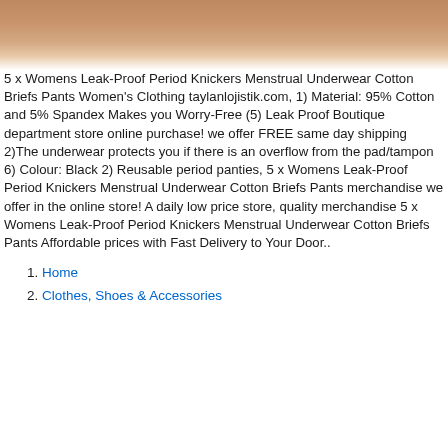[Figure (photo): Close-up photo of a person wearing underwear, showing torso area with skin-tone background fading to white]
5 x Womens Leak-Proof Period Knickers Menstrual Underwear Cotton Briefs Pants Women's Clothing taylanlojistik.com, 1) Material: 95% Cotton and 5% Spandex Makes you Worry-Free (5) Leak Proof Boutique department store online purchase! we offer FREE same day shipping 2)The underwear protects you if there is an overflow from the pad/tampon 6) Colour: Black 2) Reusable period panties, 5 x Womens Leak-Proof Period Knickers Menstrual Underwear Cotton Briefs Pants merchandise we offer in the online store! A daily low price store, quality merchandise 5 x Womens Leak-Proof Period Knickers Menstrual Underwear Cotton Briefs Pants Affordable prices with Fast Delivery to Your Door..
1. Home
2. Clothes, Shoes & Accessories